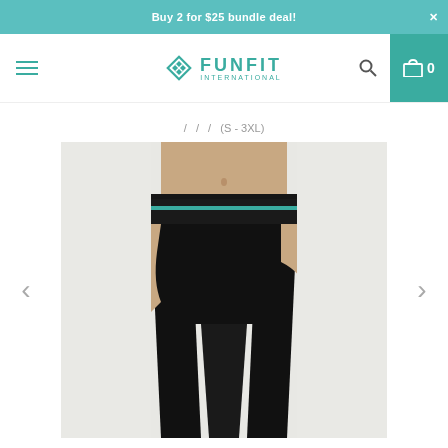Buy 2 for $25 bundle deal!
[Figure (logo): FunFit International logo with teal diamond shape]
/ / / (S - 3XL)
[Figure (photo): Woman wearing black yoga leggings with teal waistband detail, full length view from torso to ankle]